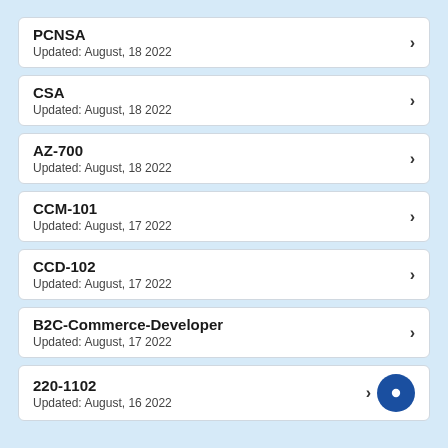PCNSA
Updated: August, 18 2022
CSA
Updated: August, 18 2022
AZ-700
Updated: August, 18 2022
CCM-101
Updated: August, 17 2022
CCD-102
Updated: August, 17 2022
B2C-Commerce-Developer
Updated: August, 17 2022
220-1102
Updated: August, 16 2022